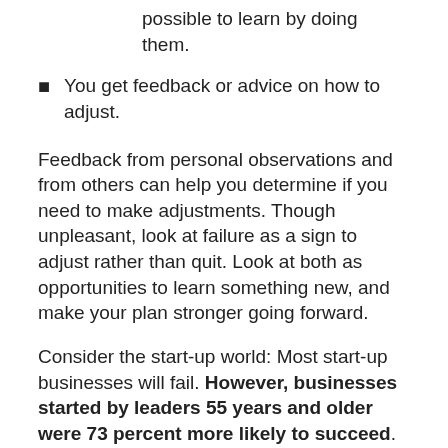possible to learn by doing them.
You get feedback or advice on how to adjust.
Feedback from personal observations and from others can help you determine if you need to make adjustments. Though unpleasant, look at failure as a sign to adjust rather than quit. Look at both as opportunities to learn something new, and make your plan stronger going forward.
Consider the start-up world: Most start-up businesses will fail. However, businesses started by leaders 55 years and older were 73 percent more likely to succeed. This is likely because older leaders have more professional experience, and they have learned from their past failures. In other words, learning from failure can help you achieve your goals.
Important Note: Sometimes, you have an idea of what you'd like to achieve, but your path to getting there